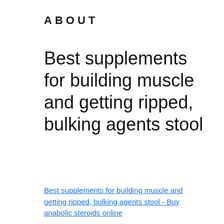ABOUT
Best supplements for building muscle and getting ripped, bulking agents stool
Best supplements for building muscle and getting ripped, bulking agents stool - Buy anabolic steroids online
[Figure (photo): Dark blurred image, possibly of a person or product, with a floating action button (three dots) in the lower right corner]